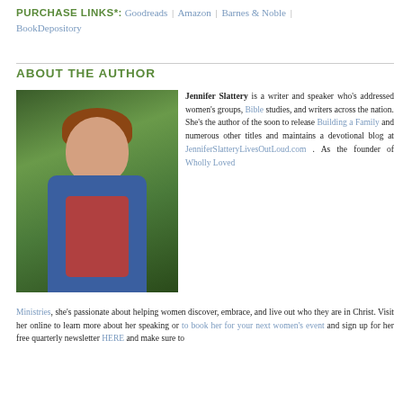PURCHASE LINKS*: Goodreads | Amazon | Barnes & Noble | BookDepository
ABOUT THE AUTHOR
[Figure (photo): Author photo of Jennifer Slattery, a woman with curly auburn hair, wearing a denim jacket over a red shirt, smiling, with green ivy/foliage in the background.]
Jennifer Slattery is a writer and speaker who's addressed women's groups, Bible studies, and writers across the nation. She's the author of the soon to release Building a Family and numerous other titles and maintains a devotional blog at JenniferSlatteryLivesOutLoud.com. As the founder of Wholly Loved Ministries, she's passionate about helping women discover, embrace, and live out who they are in Christ. Visit her online to learn more about her speaking or to book her for your next women's event and sign up for her free quarterly newsletter HERE and make sure to